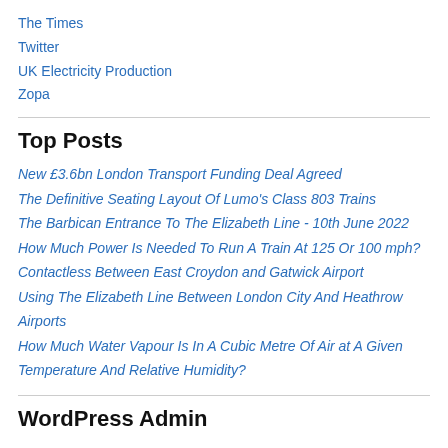The Times
Twitter
UK Electricity Production
Zopa
Top Posts
New £3.6bn London Transport Funding Deal Agreed
The Definitive Seating Layout Of Lumo's Class 803 Trains
The Barbican Entrance To The Elizabeth Line - 10th June 2022
How Much Power Is Needed To Run A Train At 125 Or 100 mph?
Contactless Between East Croydon and Gatwick Airport
Using The Elizabeth Line Between London City And Heathrow Airports
How Much Water Vapour Is In A Cubic Metre Of Air at A Given Temperature And Relative Humidity?
WordPress Admin